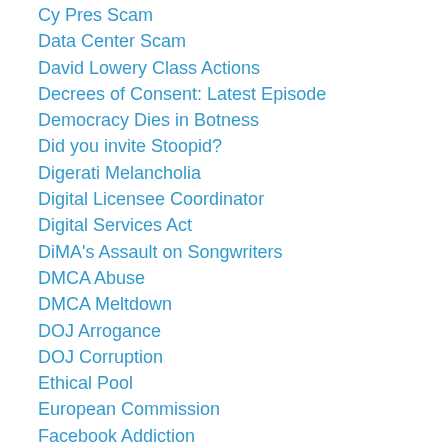Cy Pres Scam
Data Center Scam
David Lowery Class Actions
Decrees of Consent: Latest Episode
Democracy Dies in Botness
Did you invite Stoopid?
Digerati Melancholia
Digital Licensee Coordinator
Digital Services Act
DiMA's Assault on Songwriters
DMCA Abuse
DMCA Meltdown
DOJ Arrogance
DOJ Corruption
Ethical Pool
European Commission
Facebook Addiction
Facebook Meltdown
Facebook's Assault on Society
Facebook's Attack on Songwriters